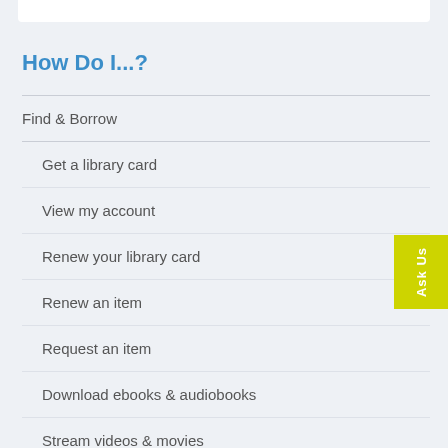How Do I...?
Find & Borrow
Get a library card
View my account
Renew your library card
Renew an item
Request an item
Download ebooks & audiobooks
Stream videos & movies